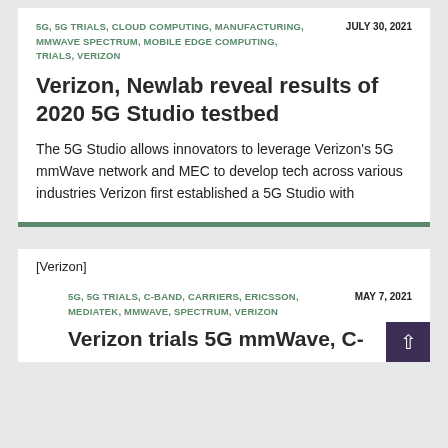5G, 5G TRIALS, CLOUD COMPUTING, MANUFACTURING, MMWAVE SPECTRUM, MOBILE EDGE COMPUTING, TRIALS, VERIZON
JULY 30, 2021
Verizon, Newlab reveal results of 2020 5G Studio testbed
The 5G Studio allows innovators to leverage Verizon's 5G mmWave network and MEC to develop tech across various industries Verizon first established a 5G Studio with
[Verizon]
5G, 5G TRIALS, C-BAND, CARRIERS, ERICSSON, MEDIATEK, MMWAVE, SPECTRUM, VERIZON
MAY 7, 2021
Verizon trials 5G mmWave, C-